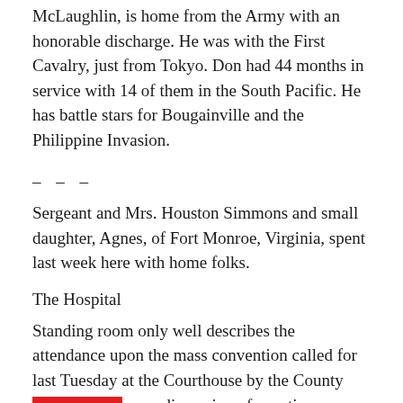McLaughlin, is home from the Army with an honorable discharge. He was with the First Cavalry, just from Tokyo. Don had 44 months in service with 14 of them in the South Pacific. He has battle stars for Bougainville and the Philippine Invasion.
_ _ _
Sergeant and Mrs. Houston Simmons and small daughter, Agnes, of Fort Monroe, Virginia, spent last week here with home folks.
The Hospital
Standing room only well describes the attendance upon the mass convention called for last Tuesday at the Courthouse by the County Court for the open discussion of questions relating to the continuance of the Pocahontas Memorial Hospital.